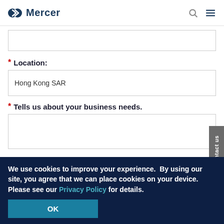Mercer
Location:
Hong Kong SAR
Tells us about your business needs.
I would like to receive communications about
We use cookies to improve your experience.  By using our site, you agree that we can place cookies on your device. Please see our Privacy Policy for details.
OK